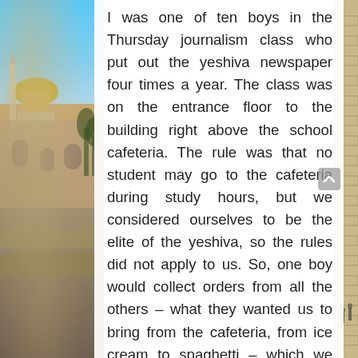[Figure (photo): Background photo of Jerusalem with the Dome of the Rock on the left side and the Western Wall area on the right side, with blue sky and stone buildings visible.]
I was one of ten boys in the Thursday journalism class who put out the yeshiva newspaper four times a year. The class was on the entrance floor to the building right above the school cafeteria. The rule was that no student may go to the cafeteria during study hours, but we considered ourselves to be the elite of the yeshiva, so the rules did not apply to us. So, one boy would collect orders from all the others – what they wanted us to bring from the cafeteria, from ice cream to spaghetti – which we would devour when Mr. Brown our teacher, who I really liked, was not watching us. It was my turn to bring the illegal, but kosher, food, but while making the order at the cafeteria the sky fell from above. The assistant principal who was the yeshiva's disciplinarian appeared. He asked me, "Kahana, what are you doing here?" Now of all the wrong excuses that one could conjure up I uttered the worst. "Well, we're not doing anything now in